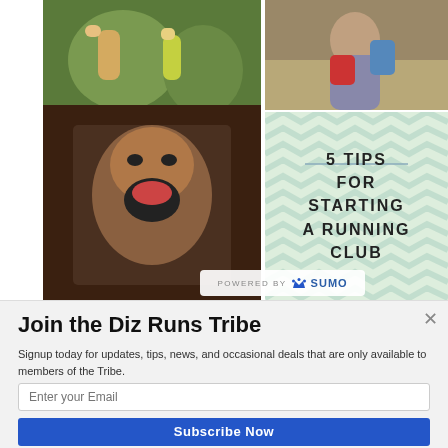[Figure (photo): Sports/athletic training photo showing people in green and yellow athletic wear outdoors]
[Figure (photo): Meme image showing a man yelling, with text 'YOU CAN'T HANDLE' at top and 'THETRUT...' at bottom]
[Figure (photo): Photo of person wearing gear/backpack, outdoors]
[Figure (infographic): 5 Tips for Starting a Running Club graphic on chevron-patterned teal background]
POWERED BY SUMO
Join the Diz Runs Tribe
Signup today for updates, tips, news, and occasional deals that are only available to members of the Tribe.
Enter your Email
Subscribe Now